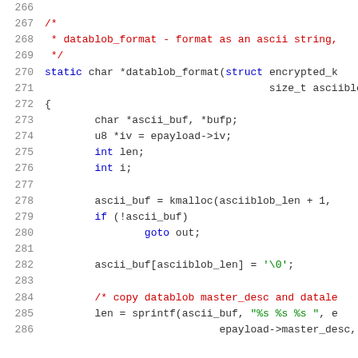[Figure (screenshot): Source code listing in C, lines 266-286, showing the datablob_format function definition with syntax highlighting. Line numbers shown in gray on the left, keywords in blue, comments in red, strings/types in green.]